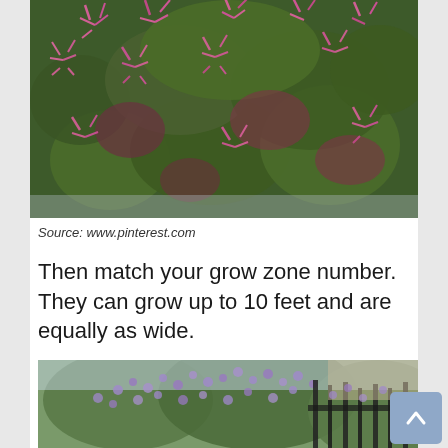[Figure (photo): Close-up photo of a flowering shrub with pink/magenta fringed flowers and deep green-red leaves, densely covering the plant.]
Source: www.pinterest.com
Then match your grow zone number. They can grow up to 10 feet and are equally as wide.
[Figure (photo): Photo of a large shrub or tree covered in small lavender/purple flowers, with a fence and building visible in the background.]